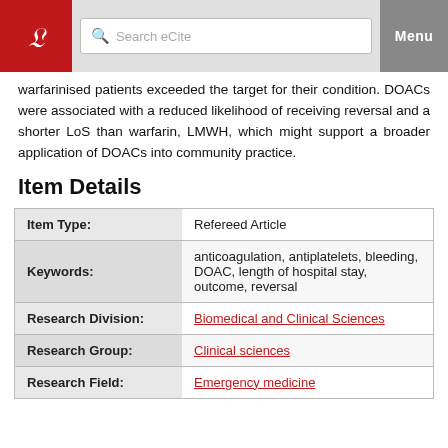Search eCite | Menu
warfarinised patients exceeded the target for their condition. DOACs were associated with a reduced likelihood of receiving reversal and a shorter LoS than warfarin, LMWH, which might support a broader application of DOACs into community practice.
Item Details
|  |  |
| --- | --- |
| Item Type: | Refereed Article |
| Keywords: | anticoagulation, antiplatelets, bleeding, DOAC, length of hospital stay, outcome, reversal |
| Research Division: | Biomedical and Clinical Sciences |
| Research Group: | Clinical sciences |
| Research Field: | Emergency medicine |